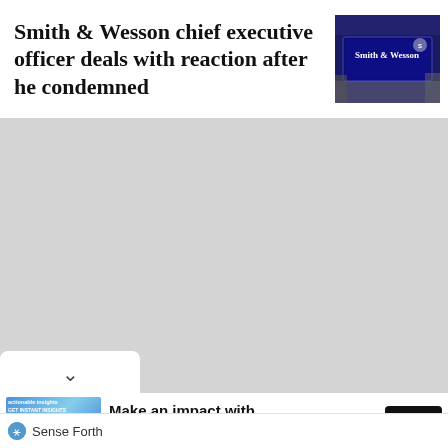Smith & Wesson chief executive officer deals with reaction after he condemned
[Figure (photo): Smith & Wesson branded sign/display at what appears to be a trade show or exhibition, illuminated blue sign with company name visible]
[Figure (other): Gray content area placeholder for article body]
[Figure (other): White collapse button with downward chevron arrow]
[Figure (other): Advertisement banner - Make an impact with insights, Sense Forth, with blue networked graphic and Open button]